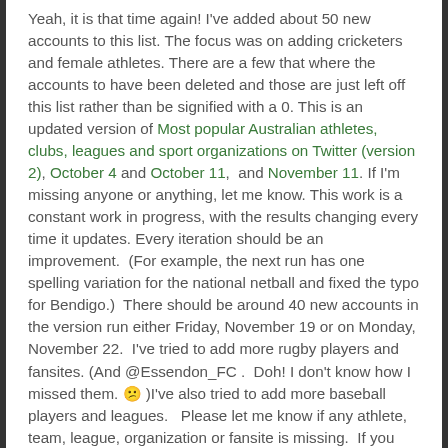Yeah, it is that time again! I've added about 50 new accounts to this list. The focus was on adding cricketers and female athletes. There are a few that where the accounts to have been deleted and those are just left off this list rather than be signified with a 0. This is an updated version of Most popular Australian athletes, clubs, leagues and sport organizations on Twitter (version 2), October 4 and October 11,  and November 11. If I'm missing anyone or anything, let me know. This work is a constant work in progress, with the results changing every time it updates. Every iteration should be an improvement.  (For example, the next run has one spelling variation for the national netball and fixed the typo for Bendigo.)  There should be around 40 new accounts in the version run either Friday, November 19 or on Monday, November 22.  I've tried to add more rugby players and fansites. (And @Essendon_FC .  Doh! I don't know how I missed them. 🙁 )I've also tried to add more baseball players and leagues.   Please let me know if any athlete, team, league, organization or fansite is missing.  If you have better descriptions for accounts listed, let me know. I will try to get it included in the next update.